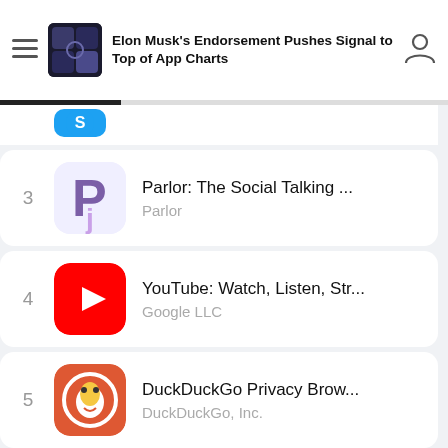Elon Musk's Endorsement Pushes Signal to Top of App Charts
3 - Parlor: The Social Talking ... | Parlor
4 - YouTube: Watch, Listen, Str... | Google LLC
5 - DuckDuckGo Privacy Brow... | DuckDuckGo, Inc.
6 - Instagram | Instagram, Inc.